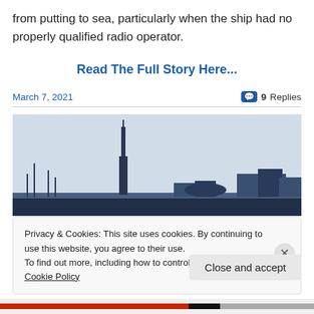from putting to sea, particularly when the ship had no properly qualified radio operator.
Read The Full Story Here...
March 7, 2021
9 Replies
[Figure (photo): Skyline silhouette of a harbor town with a tall tower and buildings against a pale blue sky]
Privacy & Cookies: This site uses cookies. By continuing to use this website, you agree to their use.
To find out more, including how to control cookies, see here: Cookie Policy
Close and accept